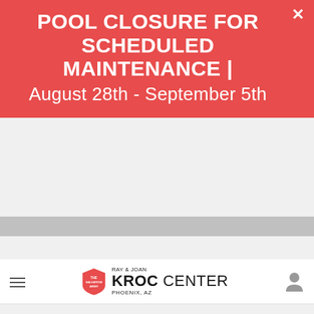POOL CLOSURE FOR SCHEDULED MAINTENANCE | August 28th - September 5th
[Figure (logo): Ray & Joan Kroc Center Phoenix, AZ logo with Salvation Army shield]
What can we help you find?
[Figure (screenshot): Black background area with a tilted white-bordered rectangle divided by a red vertical line, suggesting a website hero banner image loading]